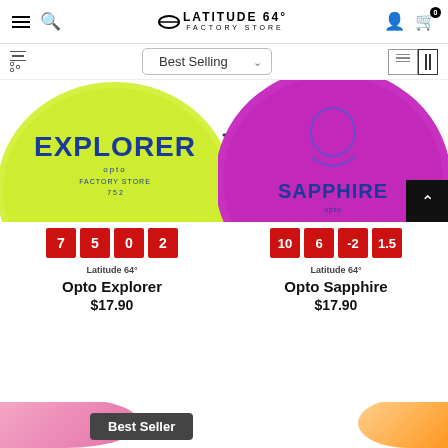Latitude 64° Factory Store — navigation header with hamburger menu, search, logo, user icon, cart (0)
Best Selling (sort dropdown)
[Figure (photo): Latitude 64 Opto Explorer disc in yellow/green color with blue text, partially visible from top]
[Figure (photo): Latitude 64 Opto Sapphire disc in purple/magenta color with blue artwork, partially visible from top. Back-to-top arrow button in bottom right.]
7 5 0 2 (flight numbers for Opto Explorer)
10 6 -2 1.5 (flight numbers for Opto Sapphire)
Latitude 64°
Opto Explorer
$17.90
Latitude 64°
Opto Sapphire
$17.90
Best Seller